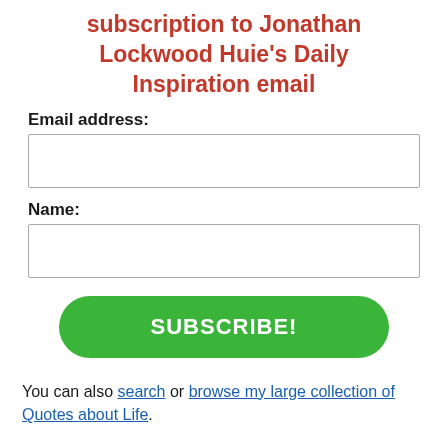subscription to Jonathan Lockwood Huie's Daily Inspiration email
Email address:
Name:
SUBSCRIBE!
You can also search or browse my large collection of Quotes about Life.
More than a collection of...